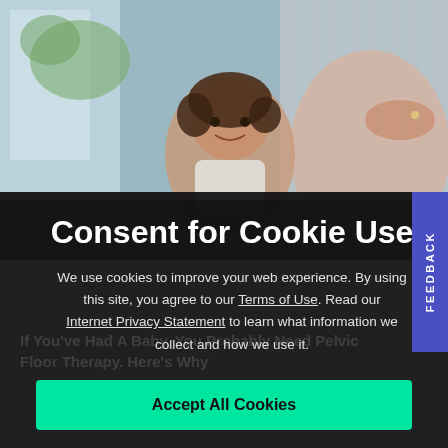[Figure (photo): A young child hugging the pregnant belly of a woman in a striped dress, photographed indoors]
Consent for Cookie Use
We use cookies to improve your web experience. By using this site, you agree to our Terms of Use. Read our Internet Privacy Statement to learn what information we collect and how we use it.
Accept All Cookies